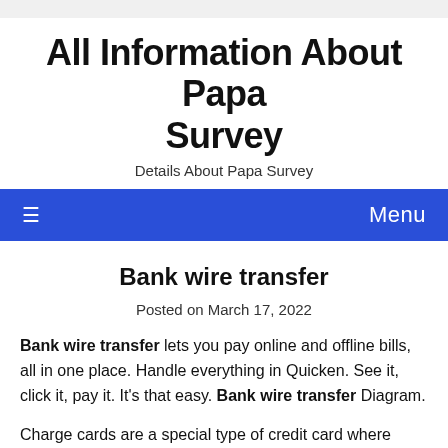All Information About Papa Survey
Details About Papa Survey
≡   Menu
Bank wire transfer
Posted on March 17, 2022
Bank wire transfer lets you pay online and offline bills, all in one place. Handle everything in Quicken. See it, click it, pay it. It's that easy. Bank wire transfer Diagram.
Charge cards are a special type of credit card where